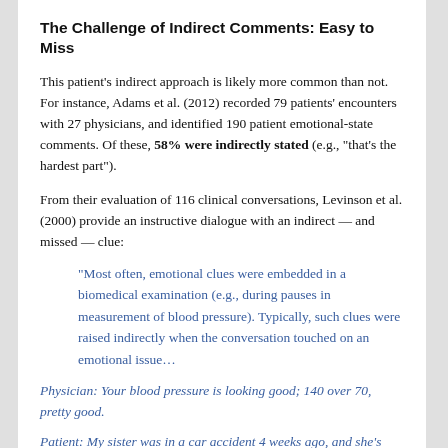The Challenge of Indirect Comments: Easy to Miss
This patient’s indirect approach is likely more common than not. For instance, Adams et al. (2012) recorded 79 patients’ encounters with 27 physicians, and identified 190 patient emotional-state comments. Of these, 58% were indirectly stated (e.g., “that’s the hardest part”).
From their evaluation of 116 clinical conversations, Levinson et al. (2000) provide an instructive dialogue with an indirect — and missed — clue:
“Most often, emotional clues were embedded in a biomedical examination (e.g., during pauses in measurement of blood pressure). Typically, such clues were raised indirectly when the conversation touched on an emotional issue…
Physician: Your blood pressure is looking good; 140 over 70, pretty good.
Patient: My sister was in a car accident 4 weeks ago, and she’s